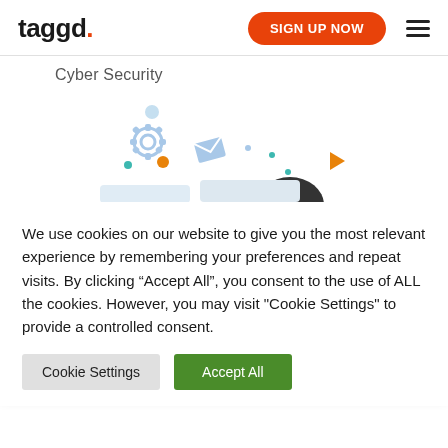taggd. | SIGN UP NOW
Cyber Security
[Figure (illustration): Cyber security themed illustration with gear icon, envelope icon, play button arrow, and dots in blue, orange, and teal colors, partially cut off at bottom.]
We use cookies on our website to give you the most relevant experience by remembering your preferences and repeat visits. By clicking “Accept All”, you consent to the use of ALL the cookies. However, you may visit "Cookie Settings" to provide a controlled consent.
Cookie Settings | Accept All